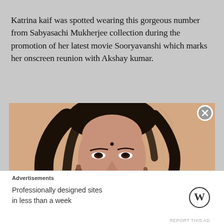Katrina kaif was spotted wearing this gorgeous number from Sabyasachi Mukherjee collection during the promotion of her latest movie Sooryavanshi which marks her onscreen reunion with Akshay kumar.
[Figure (photo): Portrait photo of Katrina Kaif with long dark hair, wearing ornate earrings, against a peach/beige background with decorative line art sketch behind her]
Advertisements
Professionally designed sites in less than a week